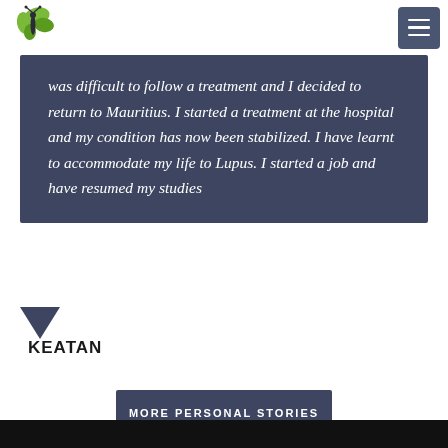was difficult to follow a treatment and I decided to return to Mauritius. I started a treatment at the hospital and my condition has now been stabilized. I have learnt to accommodate my life to Lupus. I started a job and have resumed my studies
KEATAN
MORE PERSONAL STORIES